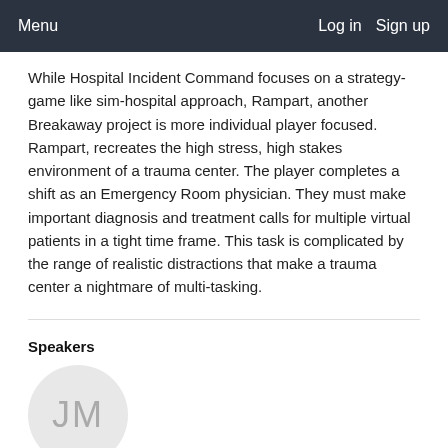Menu    Log in   Sign up
While Hospital Incident Command focuses on a strategy-game like sim-hospital approach, Rampart, another Breakaway project is more individual player focused. Rampart, recreates the high stress, high stakes environment of a trauma center. The player completes a shift as an Emergency Room physician. They must make important diagnosis and treatment calls for multiple virtual patients in a tight time frame. This task is complicated by the range of realistic distractions that make a trauma center a nightmare of multi-tasking.
Speakers
[Figure (illustration): Circular avatar placeholder with initials JM in gray on light gray background]